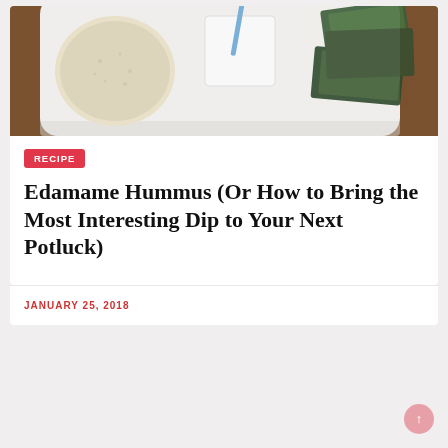[Figure (photo): Food photo showing a white plate with hummus dip, crackers, and dark green nori/seaweed chips on a wooden surface]
RECIPE
Edamame Hummus (Or How to Bring the Most Interesting Dip to Your Next Potluck)
JANUARY 25, 2018